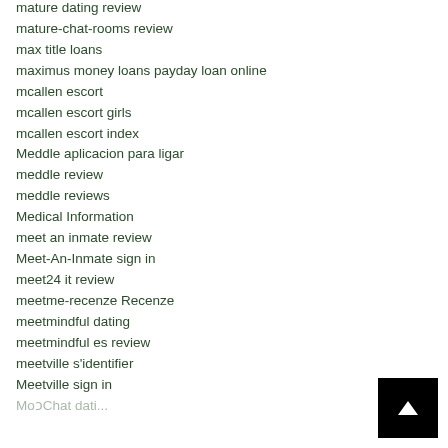mature dating review
mature-chat-rooms review
max title loans
maximus money loans payday loan online
mcallen escort
mcallen escort girls
mcallen escort index
Meddle aplicacion para ligar
meddle review
meddle reviews
Medical Information
meet an inmate review
Meet-An-Inmate sign in
meet24 it review
meetme-recenze Recenze
meetmindful dating
meetmindful es review
meetville s'identifier
Meetville sign in
MooShadoloti...